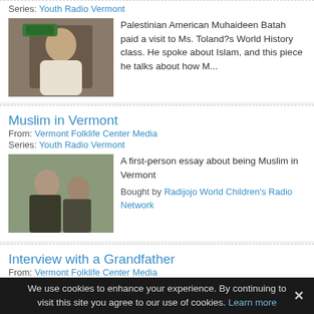Series: Youth Radio Vermont
[Figure (photo): Photo of a young man in a green cap]
Palestinian American Muhaideen Batah paid a visit to Ms. Toland?s World History class. He spoke about Islam, and this piece he talks about how M...
Muslim in Vermont
From: Vermont Folklife Center Media
Series: Youth Radio Vermont
[Figure (photo): Photo of people outdoors]
A first-person essay about being Muslim in Vermont
Bought by Radijojo World Children's Radio Network
Interview with a Grandfather
From: Vermont Folklife Center Media
Series: Youth Radio Vermont
[Figure (photo): Photo of a young woman speaking into a microphone]
Chelsey interviews her grandfather about his struggle with alcoholism, and his wish that Jesus would save him.
Bought by YouthCast and Radijojo World Children's Radio Network
We use cookies to enhance your experience. By continuing to visit this site you agree to our use of cookies. Learn more